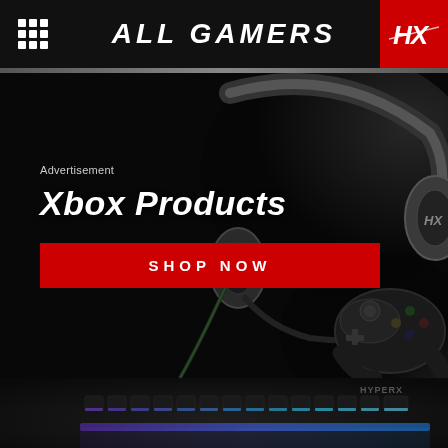ALL GAMERS
[Figure (photo): Advertisement banner showing HyperX gaming headset and Xbox controller on dark background with text 'Xbox Products' and 'SHOP NOW' button]
Advertisement
Xbox Products
SHOP NOW
[Figure (photo): RGB lit gaming keyboard (HyperX) with purple and blue lighting at the bottom of the page]